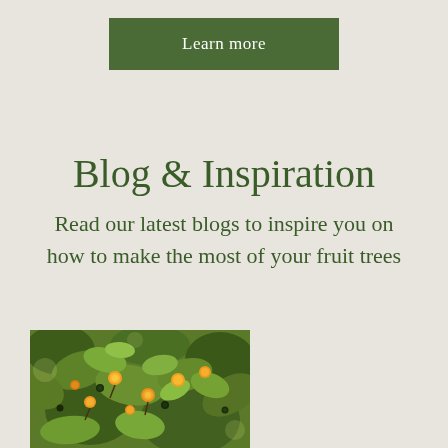Learn more
Blog & Inspiration
Read our latest blogs to inspire you on how to make the most of your fruit trees
[Figure (photo): Close-up photo of a fruit tree with green leaves and small orange/yellow fruits (kumquats or similar citrus), with some darker berries also visible among the foliage.]